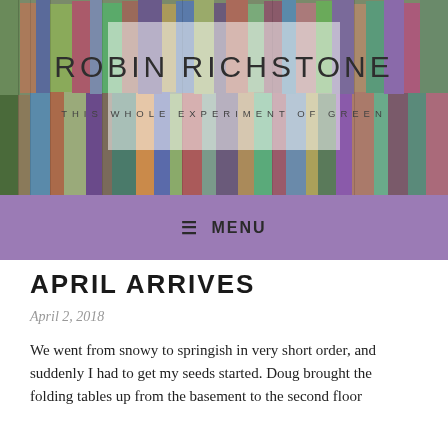[Figure (photo): Bookshelf background photo with colorful book spines, with a semi-transparent white overlay box containing the blog title and subtitle.]
ROBIN RICHSTONE
THIS WHOLE EXPERIMENT OF GREEN
≡ MENU
APRIL ARRIVES
April 2, 2018
We went from snowy to springish in very short order, and suddenly I had to get my seeds started. Doug brought the folding tables up from the basement to the second floor